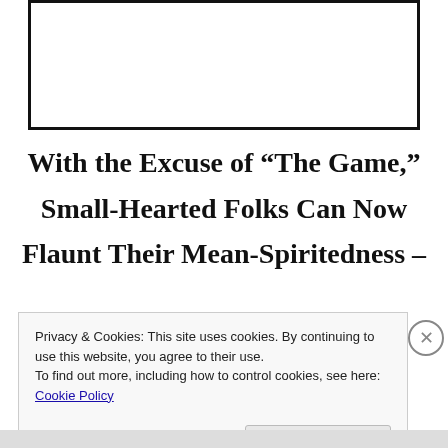[Figure (other): White rectangular box with thick black border at top of page]
With the Excuse of “The Game,” Small-Hearted Folks Can Now Flaunt Their Mean-Spiritedness –
Privacy & Cookies: This site uses cookies. By continuing to use this website, you agree to their use.
To find out more, including how to control cookies, see here: Cookie Policy
Close and accept